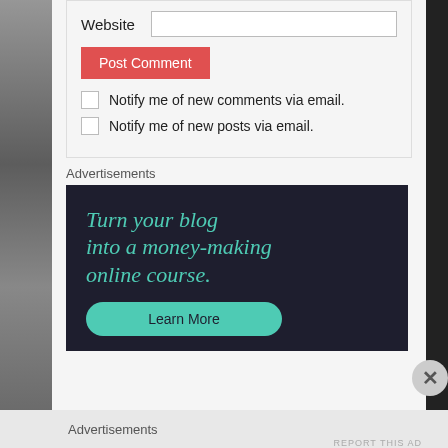Website
Post Comment
Notify me of new comments via email.
Notify me of new posts via email.
Advertisements
[Figure (illustration): Advertisement banner with dark background and teal text reading 'Turn your blog into a money-making online course.' with a teal 'Learn More' button.]
Advertisements